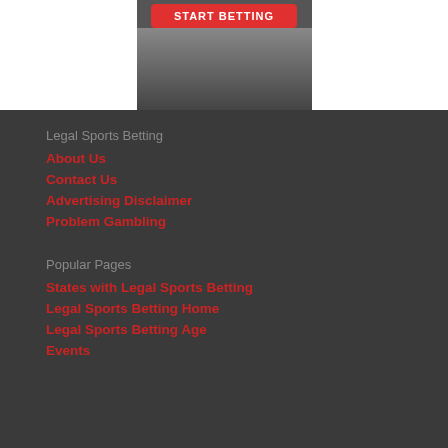[Figure (screenshot): Banner image with a red 'START BETTING' button over a dark background photo]
Legal Sports Betting
About Us
Contact Us
Advertising Disclaimer
Problem Gambling
Popular Pages
States with Legal Sports Betting
Legal Sports Betting Home
Legal Sports Betting Age
Events